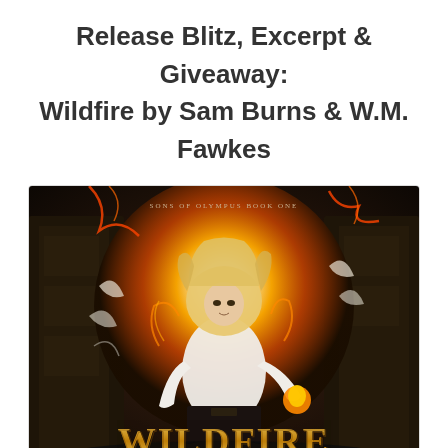Release Blitz, Excerpt & Giveaway: Wildfire by Sam Burns & W.M. Fawkes
[Figure (illustration): Book cover for 'Wildfire' (Sons of Olympus Book One) by Sam Burns & W.M. Fawkes. Shows a young man with long blond hair wearing a white shirt and dark pants, surrounded by fire and magical energy, standing among stone ruins. The title 'WILDFIRE' appears in gold letters at the bottom.]